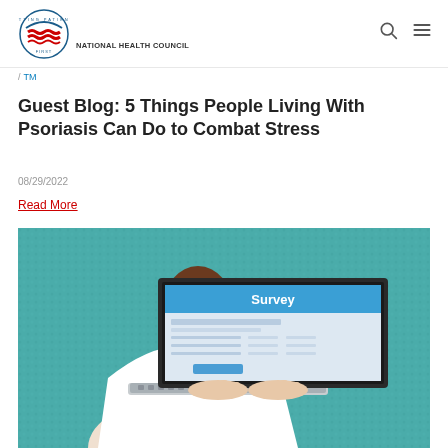NATIONAL HEALTH COUNCIL
/ TM
Guest Blog: 5 Things People Living With Psoriasis Can Do to Combat Stress
08/29/2022
Read More
[Figure (photo): Person typing on a laptop displaying a Survey form on screen, set against a teal carpet background]